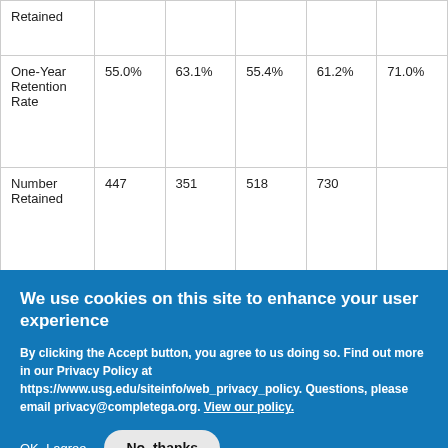| Retained |  |  |  |  |  |
| One-Year Retention Rate | 55.0% | 63.1% | 55.4% | 61.2% | 71.0% |
| Number Retained | 447 | 351 | 518 | 730 |  |
| Two-Year Retention | 37.5% | 44.4% | 37.4% | 48.1% |  |
We use cookies on this site to enhance your user experience
By clicking the Accept button, you agree to us doing so. Find out more in our Privacy Policy at https://www.usg.edu/siteinfo/web_privacy_policy. Questions, please email privacy@completega.org. View our policy.